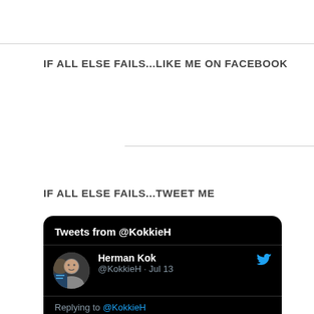IF ALL ELSE FAILS...LIKE ME ON FACEBOOK
[Figure (other): Horizontal divider line]
IF ALL ELSE FAILS...TWEET ME
[Figure (screenshot): Twitter widget showing tweets from @KokkieH. Shows a tweet by Herman Kok (@KokkieH · Jul 13) replying to @KokkieH: 'Went to the rates hall in person and they']